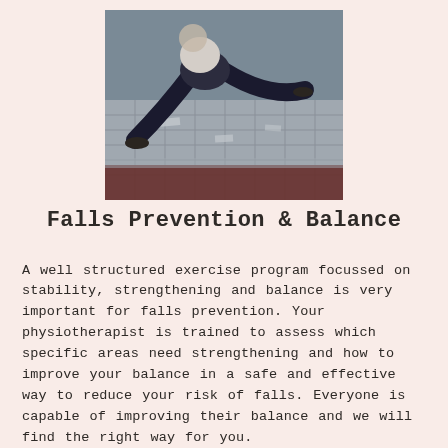[Figure (photo): A person who has fallen or is crouching on a tiled pavement, seen from behind/side, wearing dark pants and light top. Close-up of lower body on stone tiles with a blurred foreground.]
Falls Prevention & Balance
A well structured exercise program focussed on stability, strengthening and balance is very important for falls prevention. Your physiotherapist is trained to assess which specific areas need strengthening and how to improve your balance in a safe and effective way to reduce your risk of falls. Everyone is capable of improving their balance and we will find the right way for you.